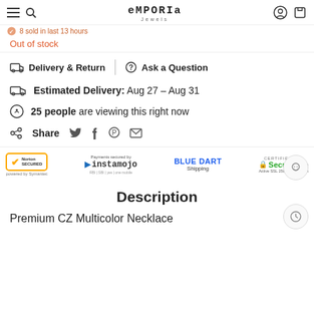EMPORIA Jewels
8 sold in last 13 hours
Out of stock
Delivery & Return  |  Ask a Question
Estimated Delivery: Aug 27 – Aug 31
25 people are viewing this right now
Share
[Figure (logo): Trust badges: Norton Secured powered by Symantec, Payments secured by Instamojo, Blue Dart Shipping, Certified Secure Site Active SSL 256-bit protection]
Description
Premium CZ Multicolor Necklace